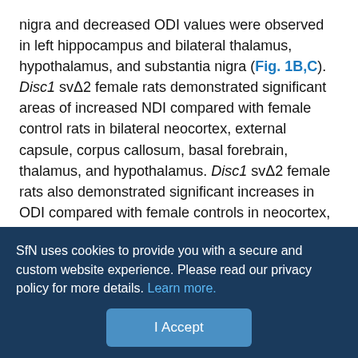nigra and decreased ODI values were observed in left hippocampus and bilateral thalamus, hypothalamus, and substantia nigra (Fig. 1B,C). Disc1 svΔ2 female rats demonstrated significant areas of increased NDI compared with female control rats in bilateral neocortex, external capsule, corpus callosum, basal forebrain, thalamus, and hypothalamus. Disc1 svΔ2 female rats also demonstrated significant increases in ODI compared with female controls in neocortex, external capsule, internal capsule, corpus callosum, basal forebrain, thalamus, hypothalamus, and right hippocampus (Fig. 2B,C).
Disc1 svΔ2 contributes significant sex-specific changes in neural microstructure in regions salient to psychiatric illness
To a far greater degree than our DTI analysis, NODDI analyses